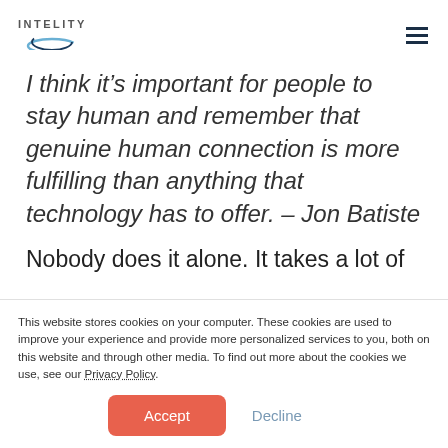INTELITY
I think it’s important for people to stay human and remember that genuine human connection is more fulfilling than anything that technology has to offer. – Jon Batiste
Nobody does it alone. It takes a lot of
This website stores cookies on your computer. These cookies are used to improve your experience and provide more personalized services to you, both on this website and through other media. To find out more about the cookies we use, see our Privacy Policy.